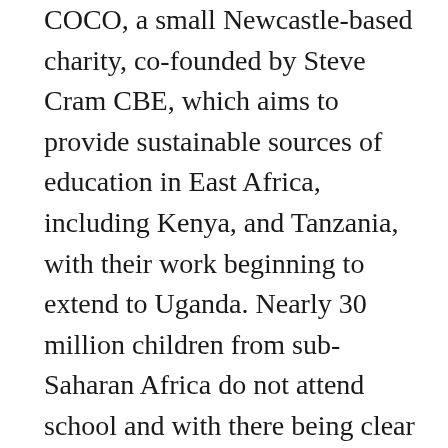COCO, a small Newcastle-based charity, co-founded by Steve Cram CBE, which aims to provide sustainable sources of education in East Africa, including Kenya, and Tanzania, with their work beginning to extend to Uganda. Nearly 30 million children from sub-Saharan Africa do not attend school and with there being clear links between education, opportunity and health, the work of COCO is vital to improve the lives of people from impoverished communities. One of the ways they are seeking to do this is in creating ‘Schools for Life’: community-led, sustainable and built to last. COCO always listens to the community with which they are working to ensure that the community’s needs are met and that there